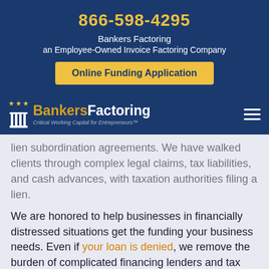866-598-4295
Bankers Factoring
an Employee-Owned Invoice Factoring Company
Online Funding Application
[Figure (logo): Bankers Factoring logo with stars and columns icon, tagline: Critical Working Capital for Entrepreneurs™]
lien subordination agreements. We have walked clients through complex legal claims, tax liabilities, and cash advances, with taxation authorities filing a lien.
We are honored to help businesses in financially distressed situations get the funding your business needs. Even if your loan is denied, we remove the burden of complicated financing lenders and tax agencies with liens in place. A subordination agreement with